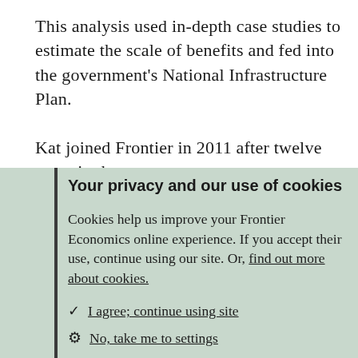This analysis used in-depth case studies to estimate the scale of benefits and fed into the government's National Infrastructure Plan.

Kat joined Frontier in 2011 after twelve years in the
Your privacy and our use of cookies
Cookies help us improve your Frontier Economics online experience. If you accept their use, continue using our site. Or, find out more about cookies.
I agree; continue using site
No, take me to settings